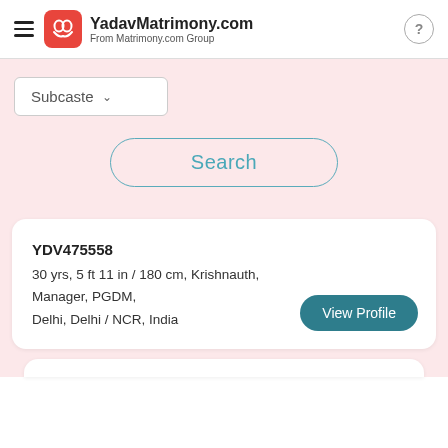YadavMatrimony.com From Matrimony.com Group
Subcaste
Search
YDV475558
30 yrs, 5 ft 11 in / 180 cm, Krishnauth,
Manager, PGDM,
Delhi, Delhi / NCR, India
View Profile